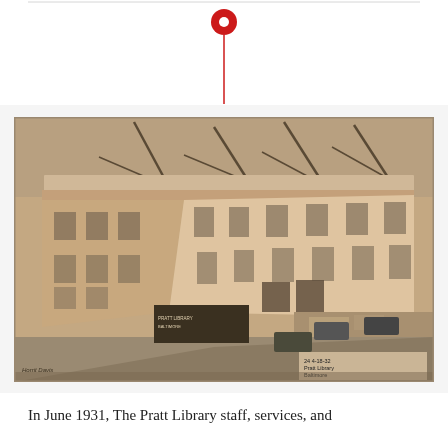[Figure (other): Red map pin icon with vertical line below it, serving as a timeline or location marker graphic]
[Figure (photo): Black and white historical photograph of the Pratt Library in Baltimore under construction, circa April 1932, showing the large neoclassical stone building from an elevated angle with cranes on the roof and construction activity on the street below. A sign on the building reads 'Pratt Library Baltimore'. Photo credit text in lower right reads '24 4-18-32 Pratt Library Baltimore Cy-and-Balantha' and lower left reads 'Horrit Davis'.]
In June 1931, The Pratt Library staff, services, and